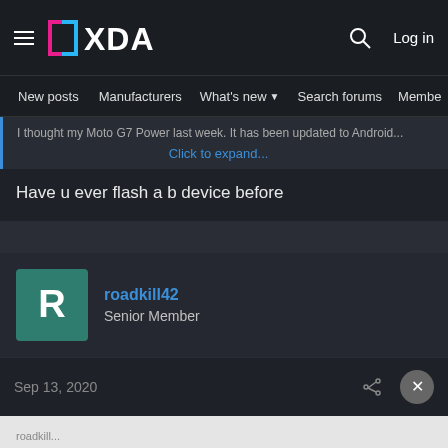XDA Developers – Navigation bar with hamburger menu, XDA logo, search icon, Log in
New posts  Manufacturers  What's new  Search forums  Membe  >
I thought my Moto G7 Power last week. It has been updated to Android  Click to expand...
Have u ever flash a b device before
roadkill42
Senior Member
Sep 13, 2020
DOWNLOAD TWRP FLASH RECOVERY
Ad | An AMG Site
Have u ever flash a b device before